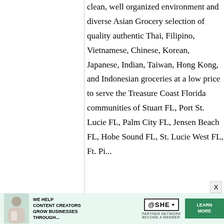clean, well organized environment and diverse Asian Grocery selection of quality authentic Thai, Filipino, Vietnamese, Chinese, Korean, Japanese, Indian, Taiwan, Hong Kong, and Indonesian groceries at a low price to serve the Treasure Coast Florida communities of Stuart FL, Port St. Lucie FL, Palm City FL, Jensen Beach FL, Hobe Sound FL, St. Lucie West FL, Ft. Pi...
[Figure (other): Advertisement banner: SHE Partner Network - We help content creators grow businesses through... Learn More button]